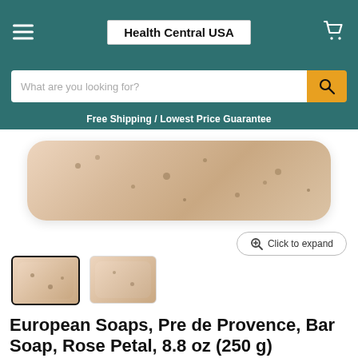Health Central USA
What are you looking for?
Free Shipping / Lowest Price Guarantee
[Figure (photo): A bar of European Soaps Pre de Provence Rose Petal soap, beige/pink color with dark speckles, shown from the top on a white background.]
Click to expand
[Figure (photo): Two thumbnail images of the Pre de Provence Rose Petal soap bar. The first thumbnail is selected with a bold border.]
European Soaps, Pre de Provence, Bar Soap, Rose Petal, 8.8 oz (250 g)